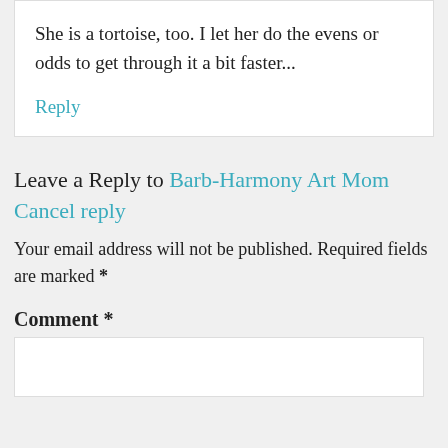She is a tortoise, too. I let her do the evens or odds to get through it a bit faster...
Reply
Leave a Reply to Barb-Harmony Art Mom Cancel reply
Your email address will not be published. Required fields are marked *
Comment *